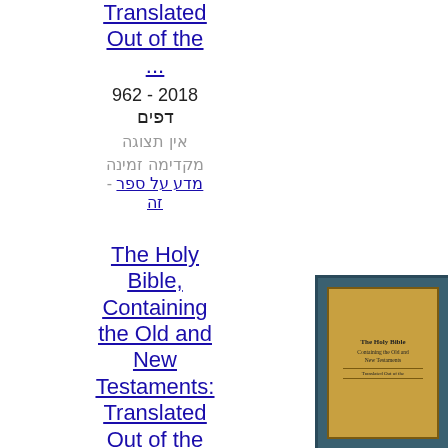Translated Out of the ...
962 - 2018 דפים
אין תצוגה מקדימה זמינה
מדע על ספר - זה
[Figure (photo): Book cover of The Holy Bible, Containing the Old and New Testaments: Translated Out of the ... - teal border with golden center]
The Holy Bible, Containing the Old and New Testaments: Translated Out of the ...
1092 - 2018 דפים
אין תצוגה מקדימה זמינה
מדע על ספר - זה
[Figure (photo): Book cover of The Holy Bible (second entry) - teal border with golden center]